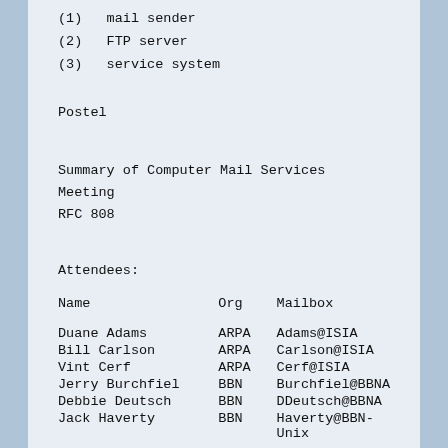(1)   mail sender
(2)   FTP server
(3)   service system
Postel
Summary of Computer Mail Services Meeting
RFC 808
Attendees:
| Name | Org | Mailbox |
| --- | --- | --- |
| Duane Adams | ARPA | Adams@ISIA |
| Bill Carlson | ARPA | Carlson@ISIA |
| Vint Cerf | ARPA | Cerf@ISIA |
| Jerry Burchfiel | BBN | Burchfiel@BBNA |
| Debbie Deutsch | BBN | DDeutsch@BBNA |
| Jack Haverty | BBN | Haverty@BBN-Unix |